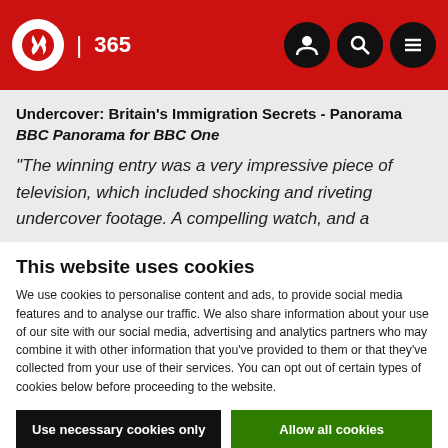IBC 365 | [navigation icons]
Undercover: Britain's Immigration Secrets - Panorama
BBC Panorama for BBC One
“The winning entry was a very impressive piece of television, which included shocking and riveting undercover footage. A compelling watch, and a
This website uses cookies
We use cookies to personalise content and ads, to provide social media features and to analyse our traffic. We also share information about your use of our site with our social media, advertising and analytics partners who may combine it with other information that you’ve provided to them or that they’ve collected from your use of their services. You can opt out of certain types of cookies below before proceeding to the website.
Use necessary cookies only | Allow all cookies
Show details